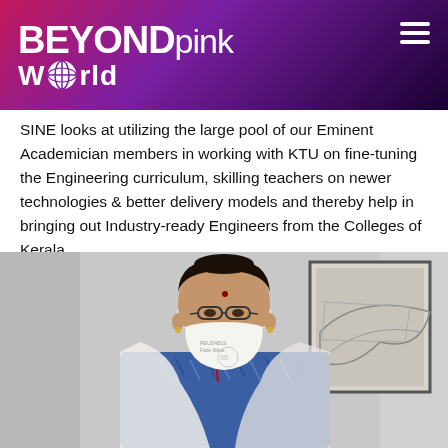BEYONDpink World
SINE looks at utilizing the large pool of our Eminent Academician members in working with KTU on fine-tuning the Engineering curriculum, skilling teachers on newer technologies & better delivery models and thereby help in bringing out Industry-ready Engineers from the Colleges of Kerala.
[Figure (photo): A woman wearing a white face mask, glasses, and a blue ikat-patterned top with a white dupatta, standing in front of a framed picture on a light-colored wall.]